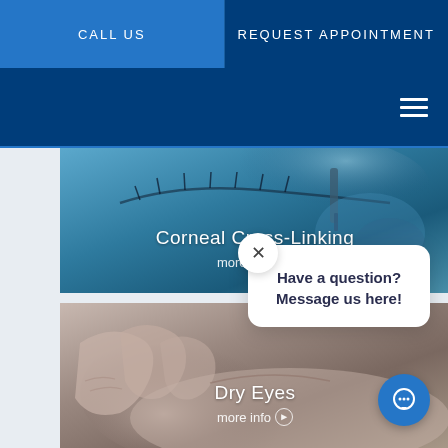CALL US  |  REQUEST APPOINTMENT
[Figure (screenshot): Medical website screenshot showing Corneal Cross-Linking and Dry Eyes procedure panels with a chat popup overlay saying 'Have a question? Message us here!']